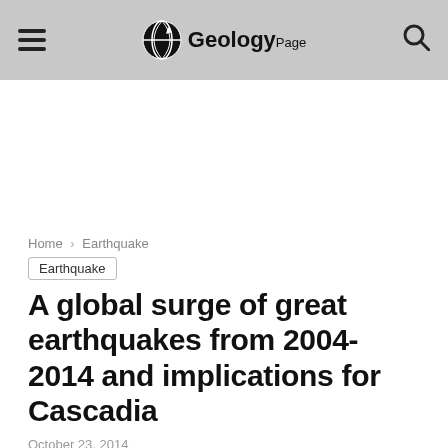GeologyPage
[Figure (logo): GeologyPage website logo with globe icon]
Home › Earthquake
Earthquake
A global surge of great earthquakes from 2004-2014 and implications for Cascadia
October 23, 2014
[Figure (other): Social sharing buttons: Facebook, Twitter, Google+, Pinterest, WhatsApp]